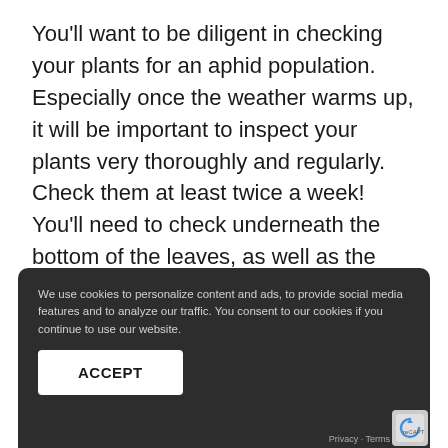You'll want to be diligent in checking your plants for an aphid population. Especially once the weather warms up, it will be important to inspect your plants very thoroughly and regularly. Check them at least twice a week! You'll need to check underneath the bottom of the leaves, as well as the stems, branches, and inside any crevices where small parasites can hide.
[Figure (screenshot): Cookie consent overlay popup with dark background. Contains cookie policy text, 'ACCEPT' button, and partially visible section header 'Identifying Aphids' and body text underneath.]
Identifying Aphids
Identifying aphids can provide a bit of a challe to the novice gardener largely due to the fact t